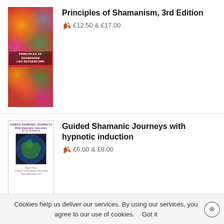[Figure (illustration): Book cover for Principles of Shamanism, 3rd Edition - colorful mandala/floral pattern top cover and bottom cover image]
Principles of Shamanism, 3rd Edition
£12.50 & £17.00
[Figure (illustration): Book cover for Guided Shamanic Journeys with hypnotic induction - shows text and earth globe image]
Guided Shamanic Journeys with hypnotic induction
£6.00 & £8.00
NOTE ON PAYMENTS:
You can pay by credit or debit card via PayPal, please login to
Cookies help us deliver our services. By using our services, you agree to our use of cookies.    Got it